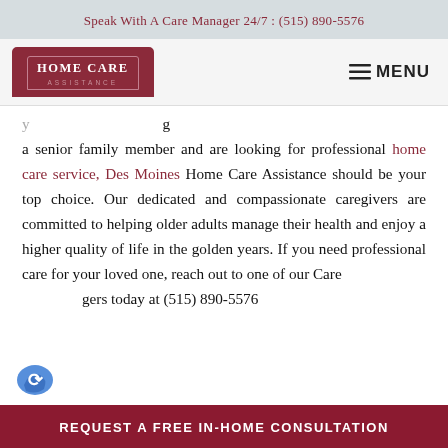Speak With A Care Manager 24/7 : (515) 890-5576
[Figure (logo): Home Care Assistance logo — dark red shield-shaped badge with white text 'HOME CARE ASSISTANCE']
MENU
a senior family member and are looking for professional home care service, Des Moines Home Care Assistance should be your top choice. Our dedicated and compassionate caregivers are committed to helping older adults manage their health and enjoy a higher quality of life in the golden years. If you need professional care for your loved one, reach out to one of our Care gers today at (515) 890-5576
REQUEST A FREE IN-HOME CONSULTATION